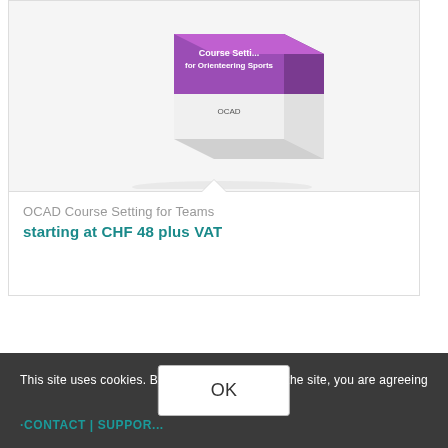[Figure (illustration): Software box product image for 'OCAD Course Setting for Orienteering Sports' with purple top and white box body]
OCAD Course Setting for Teams
starting at CHF 48 plus VAT
This site uses cookies. By continuing to browse the site, you are agreeing to our use of cookies.
CONTACT | SUPPORT
OK